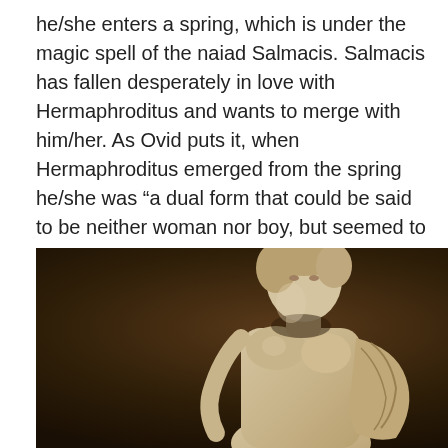he/she enters a spring, which is under the magic spell of the naiad Salmacis. Salmacis has fallen desperately in love with Hermaphroditus and wants to merge with him/her. As Ovid puts it, when Hermaphroditus emerged from the spring he/she was “a dual form that could be said to be neither woman nor boy, but seemed to be neither and both.” (4)
[Figure (photo): A marble statue of Hermaphroditus — an androgynous figure with female breasts and draped cloth, shown from below the waist up, against a dark brown background.]